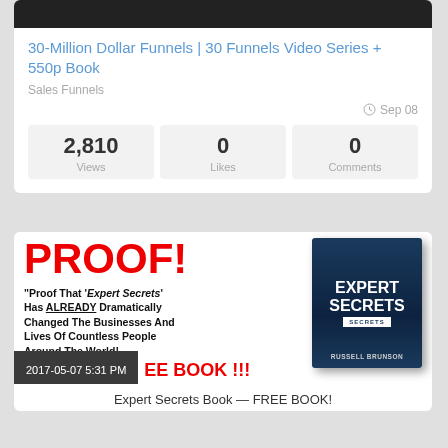[Figure (screenshot): Dark banner image at top of card]
30-Million Dollar Funnels | 30 Funnels Video Series + 550p Book
Sales Funnels
Sep 08
| Views | Likes | Comments |
| --- | --- | --- |
| 2,810 | 0 | 0 |
[Figure (photo): Promotional image for Expert Secrets book showing PROOF! in red text, book cover, and FREE BOOK !!! text, with a timestamp overlay 2017-05-07 5:31 PM]
Expert Secrets Book — FREE BOOK!